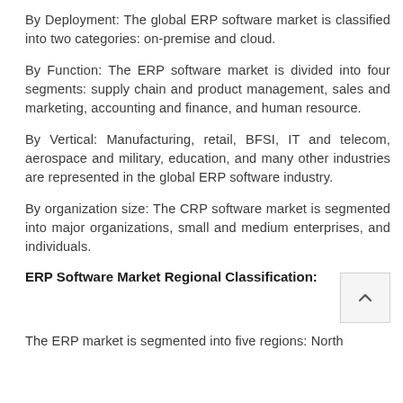By Deployment: The global ERP software market is classified into two categories: on-premise and cloud.
By Function: The ERP software market is divided into four segments: supply chain and product management, sales and marketing, accounting and finance, and human resource.
By Vertical: Manufacturing, retail, BFSI, IT and telecom, aerospace and military, education, and many other industries are represented in the global ERP software industry.
By organization size: The CRP software market is segmented into major organizations, small and medium enterprises, and individuals.
ERP Software Market Regional Classification:
The ERP market is segmented into five regions: North